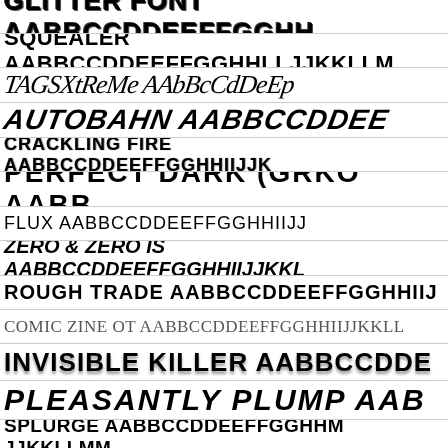GLITTER FONT AABBCCDDEEFFGGHH
SQUEALER AABBCCDDEEFFGGHHLLJJKKLLM
TAGSXTREME AABBCCDDEEP
AUTOBAHN AABBCCDDEE
CRACKLING FIRE AABBCCDDEEFFGGHHIIJJK
PERFECT DARK (GRKO AABB
FLUX AABBCCDDEEFFGGHHIIJJ
ZERO & ZERO IS AABBCCDDEEFFGGHHIIJJKKL
ROUGH TRADE AABBCCDDEEFFGGHHIIJ
COMIC ZINE OT AABBCCDDЕEFFGGHHIIJJKKLL
INVISIBLE KILLER AABBCCDDЕ
PLEASANTLY PLUMP AAB
SPLURGE AABBCCDDEEFFGGHHM JJKKLLMM